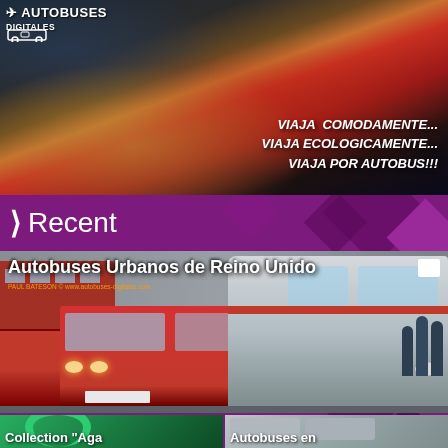[Figure (photo): Interior of a bus with a person resting under a red blanket/jacket, with yellow seat visible. Logo 'Autobuses Digitales' in top left corner.]
VIAJA COMODAMENTE...
VIAJA ECOLOGICAMENTE...
VIAJA POR AUTOBUS!!!
Recent
[Figure (photo): Street photo of UK urban buses including red single-decker and silver/white bus. Caption: Autobuses Urbanos de Reino Unido. Credit: PAUL BATESON © www.autobuses-digitales.com]
[Figure (photo): Thumbnail image showing green Omsa bus. Label: Collection 'Aga']
[Figure (photo): Thumbnail image of buses. Label: Autobuses en]